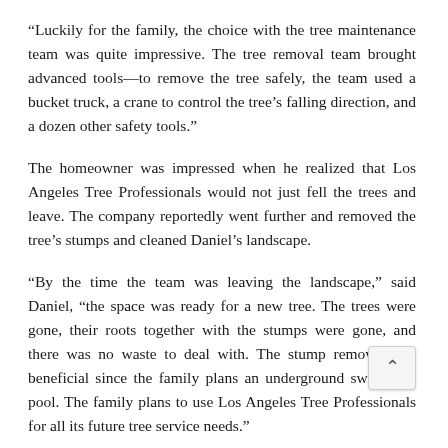“Luckily for the family, the choice with the tree maintenance team was quite impressive. The tree removal team brought advanced tools—to remove the tree safely, the team used a bucket truck, a crane to control the tree’s falling direction, and a dozen other safety tools.”
The homeowner was impressed when he realized that Los Angeles Tree Professionals would not just fell the trees and leave. The company reportedly went further and removed the tree’s stumps and cleaned Daniel’s landscape.
“By the time the team was leaving the landscape,” said Daniel, “the space was ready for a new tree. The trees were gone, their roots together with the stumps were gone, and there was no waste to deal with. The stump removal was beneficial since the family plans an underground swimming pool. The family plans to use Los Angeles Tree Professionals for all its future tree service needs.”
Los Angeles Tree Professionals has its base of operation a… S Concord St Los Angeles, CA, 90023. Homeowners can, however,